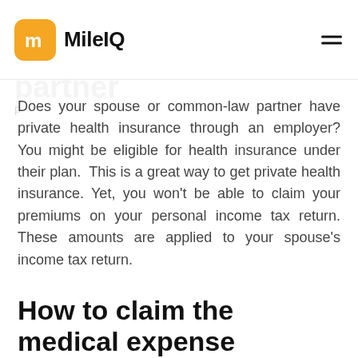MileIQ
Does your spouse or common-law partner have private health insurance through an employer? You might be eligible for health insurance under their plan.  This is a great way to get private health insurance. Yet, you won't be able to claim your premiums on your personal income tax return. These amounts are applied to your spouse's income tax return.
How to claim the medical expense deduction
To claim eligible medical expenses for you or